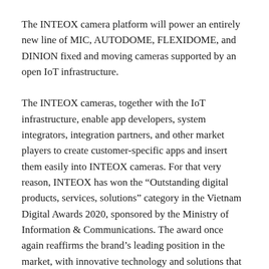The INTEOX camera platform will power an entirely new line of MIC, AUTODOME, FLEXIDOME, and DINION fixed and moving cameras supported by an open IoT infrastructure.
The INTEOX cameras, together with the IoT infrastructure, enable app developers, system integrators, integration partners, and other market players to create customer-specific apps and insert them easily into INTEOX cameras. For that very reason, INTEOX has won the “Outstanding digital products, services, solutions” category in the Vietnam Digital Awards 2020, sponsored by the Ministry of Information & Communications. The award once again reaffirms the brand’s leading position in the market, with innovative technology and solutions that break limits and raise new bars in the market.
“As sophisticated sensors with Intelligent Video Analytics